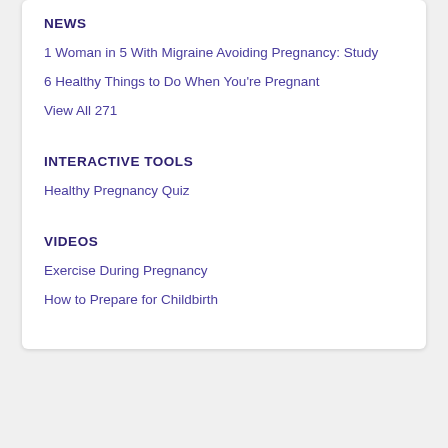NEWS
1 Woman in 5 With Migraine Avoiding Pregnancy: Study
6 Healthy Things to Do When You're Pregnant
View All 271
INTERACTIVE TOOLS
Healthy Pregnancy Quiz
VIDEOS
Exercise During Pregnancy
How to Prepare for Childbirth